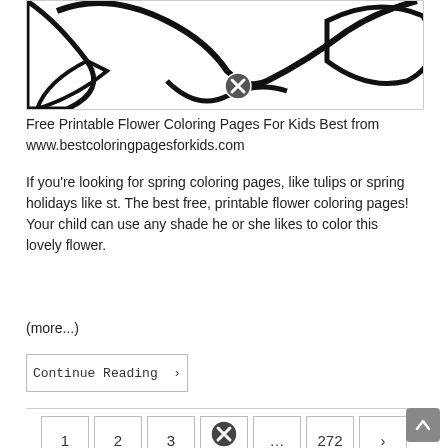[Figure (illustration): Partial view of a flower coloring page outline drawing with thick black lines on white background, with a circular close/remove button overlay]
Free Printable Flower Coloring Pages For Kids Best from www.bestcoloringpagesforkids.com
If you're looking for spring coloring pages, like tulips or spring holidays like st. The best free, printable flower coloring pages! Your child can use any shade he or she likes to color this lovely flower.
(more...)
Continue Reading ›
1  2  3  4  ...  272  ›